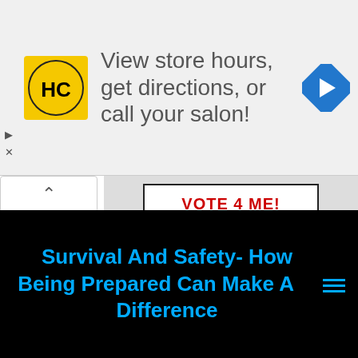[Figure (screenshot): Advertisement banner with HC logo (yellow circle with HC letters), text 'View store hours, get directions, or call your salon!', and a blue navigation arrow icon. Small play and close controls on the left.]
[Figure (illustration): White card with black border reading 'VOTE 4 ME!' in red, 'TOP PREPPER SITES' in large bold black text, and 'CLICKING ON THIS LINK RECORDS YOUR VOTE' in red below.]
Survival And Safety- How Being Prepared Can Make A Difference